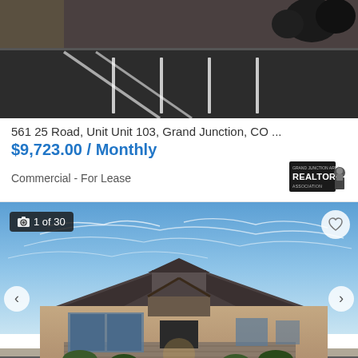[Figure (photo): Aerial or ground-level view of a parking lot with asphalt surface and white parking stripes]
561 25 Road, Unit Unit 103, Grand Junction, CO ...
$9,723.00 / Monthly
Commercial - For Lease
[Figure (logo): Grand Junction Area Realtor Association badge/logo]
[Figure (photo): Exterior photo of a commercial building with craftsman-style architecture, showing 1 of 30 photos. Blue sky background. Navigation arrows on sides. Heart/favorite icon in top right corner.]